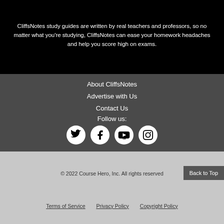CliffsNotes study guides are written by real teachers and professors, so no matter what you're studying, CliffsNotes can ease your homework headaches and help you score high on exams.
About CliffsNotes
Advertise with Us
Contact Us
Follow us:
[Figure (illustration): Social media icons: Twitter, Facebook, YouTube, Instagram — white circular buttons]
© 2022 Course Hero, Inc. All rights reserved
Back to Top
Terms of Service   Privacy Policy   Copyright Policy